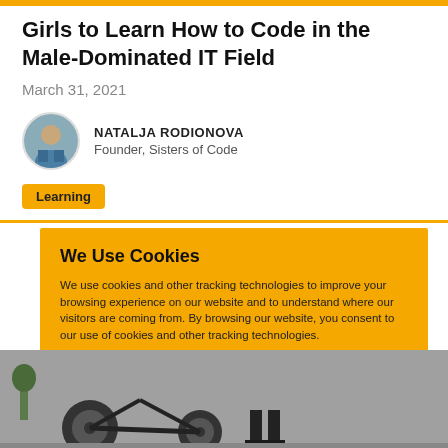Girls to Learn How to Code in the Male-Dominated IT Field
March 31, 2021
NATALJA RODIONOVA
Founder, Sisters of Code
Learning
We Use Cookies
We use cookies and other tracking technologies to improve your browsing experience on our website and to understand where our visitors are coming from. By browsing our website, you consent to our use of cookies and other tracking technologies.
ACCEPT
REJECT
[Figure (photo): Partial view of a person near a motorcycle on a street, shown at the bottom of the page]